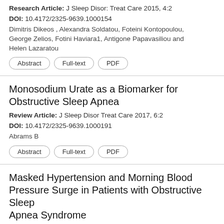Research Article: J Sleep Disor: Treat Care 2015, 4:2
DOI: 10.4172/2325-9639.1000154
Dimitris Dikeos , Alexandra Soldatou, Foteini Kontopoulou, George Zelios, Fotini Haviara1, Antigone Papavasiliou and Helen Lazaratou
Monosodium Urate as a Biomarker for Obstructive Sleep Apnea
Review Article: J Sleep Disor Treat Care 2017, 6:2
DOI: 10.4172/2325-9639.1000191
Abrams B
Masked Hypertension and Morning Blood Pressure Surge in Patients with Obstructive Sleep Apnea Syndrome
Research Article: J Sleep Disor: Treat Care 2016, 5:1
DOI: 10.4172/2325-9639.1000168
Miyata S ,Noda A, Otake H and Yasuda Y